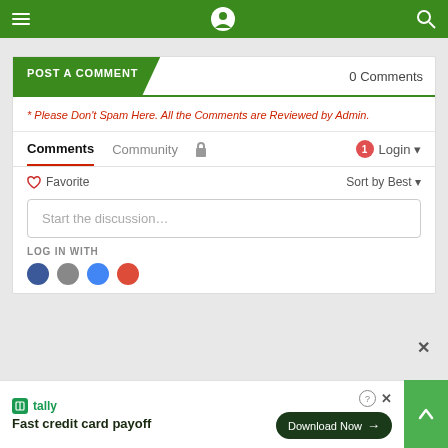Navigation bar with hamburger menu, site logo, and search icon
POST A COMMENT — 0 Comments
* Please Don't Spam Here. All the Comments are Reviewed by Admin.
Comments  Community  🔒  🔔1  Login ▾
♡ Favorite    Sort by Best ▾
Start the discussion...
LOG IN WITH
Tally — Fast credit card payoff — Download Now →